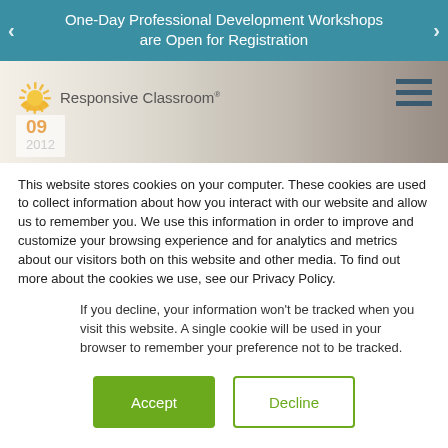One-Day Professional Development Workshops are Open for Registration
[Figure (screenshot): Responsive Classroom website header with logo, navigation hamburger menu, date badge showing 09 / 2012, and background photo of students in a classroom]
This website stores cookies on your computer. These cookies are used to collect information about how you interact with our website and allow us to remember you. We use this information in order to improve and customize your browsing experience and for analytics and metrics about our visitors both on this website and other media. To find out more about the cookies we use, see our Privacy Policy.
If you decline, your information won't be tracked when you visit this website. A single cookie will be used in your browser to remember your preference not to be tracked.
Accept  Decline